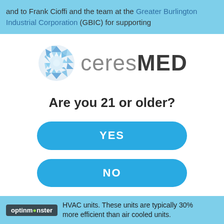and to Frank Cioffi and the team at the Greater Burlington Industrial Corporation (GBIC) for supporting
[Figure (logo): CeresMED logo with blue geometric globe/sphere icon on the left and 'ceres' in gray and 'MED' in dark bold text on the right]
Are you 21 or older?
YES
NO
optinmonster   HVAC units. These units are typically 30% more efficient than air cooled units.